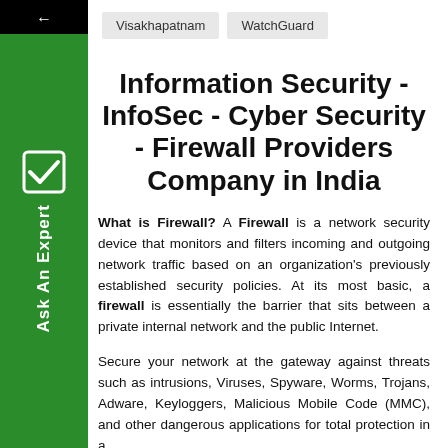Visakhapatnam   WatchGuard
Information Security - InfoSec - Cyber Security - Firewall Providers Company in India
What is Firewall? A Firewall is a network security device that monitors and filters incoming and outgoing network traffic based on an organization's previously established security policies. At its most basic, a firewall is essentially the barrier that sits between a private internal network and the public Internet.
Secure your network at the gateway against threats such as intrusions, Viruses, Spyware, Worms, Trojans, Adware, Keyloggers, Malicious Mobile Code (MMC), and other dangerous applications for total protection in a